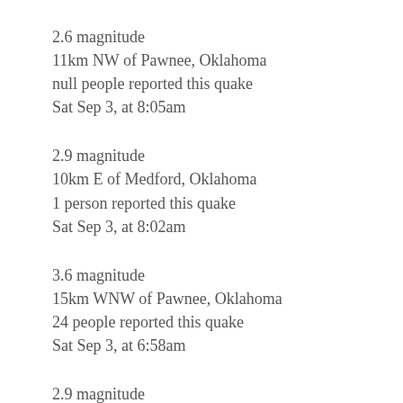2.6 magnitude
11km NW of Pawnee, Oklahoma
null people reported this quake
Sat Sep 3, at 8:05am
2.9 magnitude
10km E of Medford, Oklahoma
1 person reported this quake
Sat Sep 3, at 8:02am
3.6 magnitude
15km WNW of Pawnee, Oklahoma
24 people reported this quake
Sat Sep 3, at 6:58am
2.9 magnitude
12km NW of Pawnee, Oklahoma
1 person reported this quake